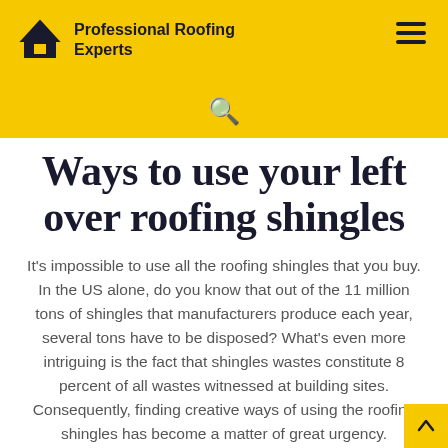Professional Roofing Experts
Ways to use your left over roofing shingles
It's impossible to use all the roofing shingles that you buy. In the US alone, do you know that out of the 11 million tons of shingles that manufacturers produce each year, several tons have to be disposed? What's even more intriguing is the fact that shingles wastes constitute 8 percent of all wastes witnessed at building sites. Consequently, finding creative ways of using the roofing shingles has become a matter of great urgency.